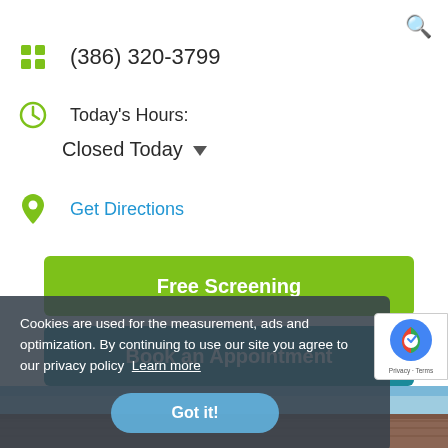(386) 320-3799
Today's Hours:
Closed Today
Get Directions
Free Screening
Cookies are used for the measurement, ads and optimization. By continuing to use our site you agree to our privacy policy Learn more
Book an Appointment
Got it!
[Figure (screenshot): Bottom strip showing sky and roof tiles]
[Figure (logo): Google reCAPTCHA badge with Privacy and Terms links]